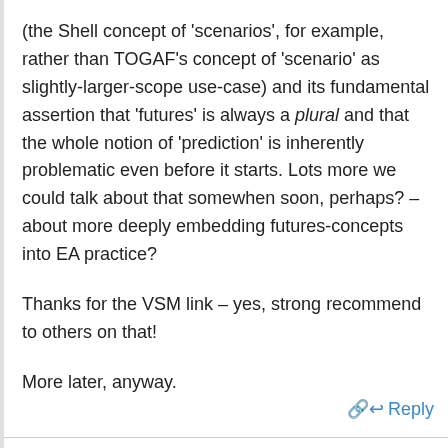(the Shell concept of 'scenarios', for example, rather than TOGAF's concept of 'scenario' as slightly-larger-scope use-case) and its fundamental assertion that 'futures' is always a plural and that the whole notion of 'prediction' is inherently problematic even before it starts. Lots more we could talk about that somewhen soon, perhaps? – about more deeply embedding futures-concepts into EA practice?
Thanks for the VSM link – yes, strong recommend to others on that!
More later, anyway.